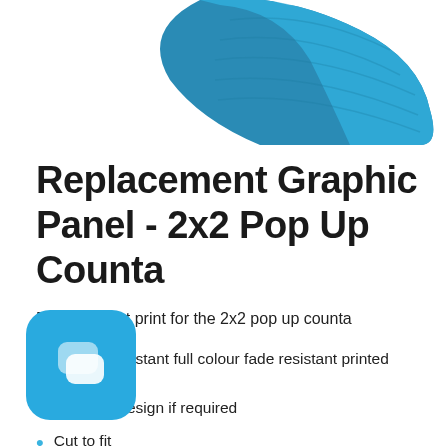[Figure (photo): Partial view of a blue and white 2x2 pop up counter product, cropped at top of page]
Replacement Graphic Panel - 2x2 Pop Up Counta
Replacement print for the 2x2 pop up counta
Scratch resistant full colour fade resistant printed graphic
Bespoke design if required
Cut to fit
Stylish and eye-catching
[Figure (logo): Blue rounded square chat/messaging app icon with two overlapping speech bubble shapes in lighter blue]